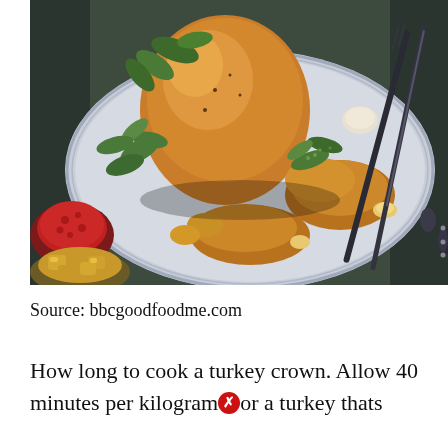[Figure (photo): A roasted turkey crown on an ornate blue-and-white decorative platter, garnished with sage leaves and herbs. Drumsticks visible on the side. A bowl of cranberry sauce on the left, a bowl of roasted potatoes in the lower left, and carving knife and fork on the right. Dark dramatic food photography style.]
Source: bbcgoodfoodme.com
How long to cook a turkey crown. Allow 40 minutes per kilogram [X] or a turkey thats